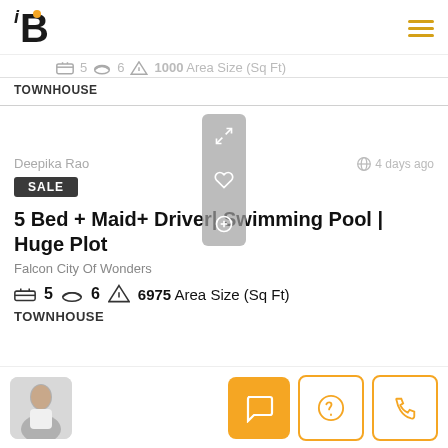[Figure (logo): iB real estate logo with yellow dot above B letter]
5  6  1000 Area Size (Sq Ft)
TOWNHOUSE
Deepika Rao
4 days ago
SALE
5 Bed + Maid+ Driver| Swimming Pool | Huge Plot
Falcon City Of Wonders
5  6  6975 Area Size (Sq Ft)
TOWNHOUSE
[Figure (photo): Agent photo of a woman in white blazer]